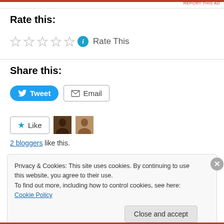REPORT THIS AD
Rate this:
[Figure (other): Five empty star rating icons followed by an info icon and 'Rate This' text]
Share this:
[Figure (other): Tweet button (blue rounded) and Email button (outlined)]
[Figure (other): Like button with star icon and two blogger avatar photos]
2 bloggers like this.
Privacy & Cookies: This site uses cookies. By continuing to use this website, you agree to their use.
To find out more, including how to control cookies, see here: Cookie Policy
Close and accept